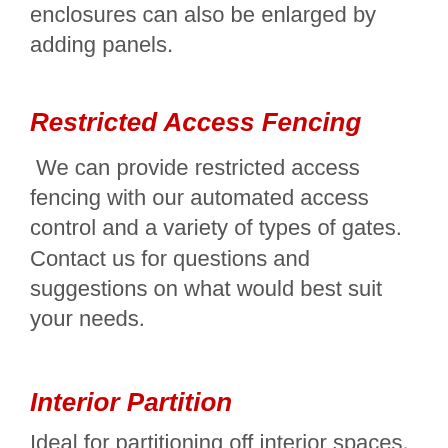enclosures can also be enlarged by adding panels.
Restricted Access Fencing
We can provide restricted access fencing with our automated access control and a variety of types of gates. Contact us for questions and suggestions on what would best suit your needs.
Interior Partition
Ideal for partitioning off interior spaces, providing secure enclosures and equal